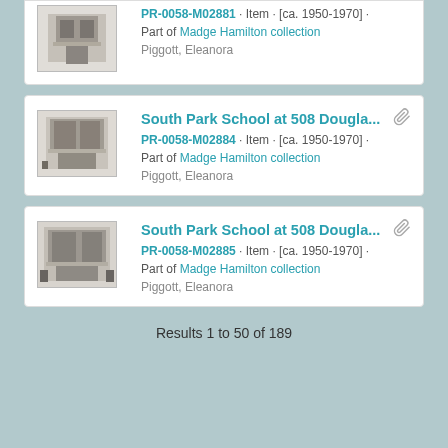PR-0058-M02881 · Item · [ca. 1950-1970] · Part of Madge Hamilton collection. Piggott, Eleanora
South Park School at 508 Dougla... PR-0058-M02884 · Item · [ca. 1950-1970] · Part of Madge Hamilton collection. Piggott, Eleanora
South Park School at 508 Dougla... PR-0058-M02885 · Item · [ca. 1950-1970] · Part of Madge Hamilton collection. Piggott, Eleanora
Results 1 to 50 of 189